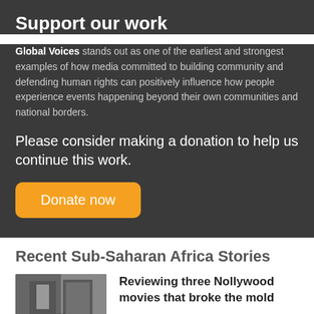Support our work
Global Voices stands out as one of the earliest and strongest examples of how media committed to building community and defending human rights can positively influence how people experience events happening beyond their own communities and national borders.
Please consider making a donation to help us continue this work.
Donate now
Recent Sub-Saharan Africa Stories
[Figure (photo): Grayscale image of Nollywood movie posters]
Reviewing three Nollywood movies that broke the mold
Nigeria  2 days ago